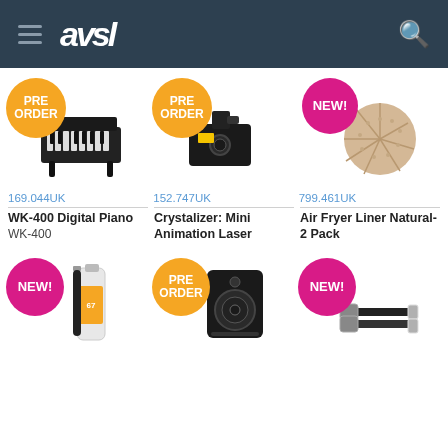[Figure (screenshot): AVSL website header with hamburger menu, AVSL logo, and search icon on dark blue background]
[Figure (photo): WK-400 Digital Piano product image with PRE ORDER orange badge]
169.044UK
WK-400 Digital Piano WK-400
[Figure (photo): Crystalizer Mini Animation Laser product image with PRE ORDER orange badge]
152.747UK
Crystalizer: Mini Animation Laser
[Figure (photo): Air Fryer Liner Natural 2 Pack product image with NEW pink badge]
799.461UK
Air Fryer Liner Natural- 2 Pack
[Figure (photo): Spray can product with NEW pink badge (bottom row, left)]
[Figure (photo): Speaker/sub product with PRE ORDER orange badge (bottom row, center)]
[Figure (photo): HDMI cables product with NEW pink badge (bottom row, right)]